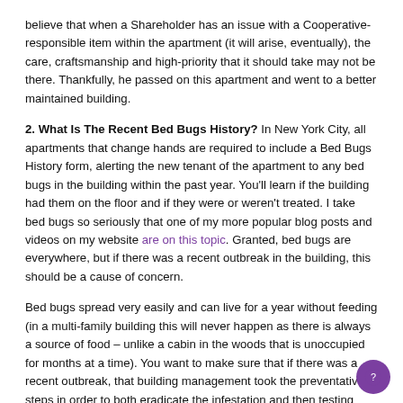believe that when a Shareholder has an issue with a Cooperative-responsible item within the apartment (it will arise, eventually), the care, craftsmanship and high-priority that it should take may not be there. Thankfully, he passed on this apartment and went to a better maintained building.
2. What Is The Recent Bed Bugs History? In New York City, all apartments that change hands are required to include a Bed Bugs History form, alerting the new tenant of the apartment to any bed bugs in the building within the past year. You'll learn if the building had them on the floor and if they were or weren't treated. I take bed bugs so seriously that one of my more popular blog posts and videos on my website are on this topic. Granted, bed bugs are everywhere, but if there was a recent outbreak in the building, this should be a cause of concern.
Bed bugs spread very easily and can live for a year without feeding (in a multi-family building this will never happen as there is always a source of food – unlike a cabin in the woods that is unoccupied for months at a time). You want to make sure that if there was a recent outbreak, that building management took the preventative steps in order to both eradicate the infestation and then testing after the treatments to ensure that they were actually removed from the property.